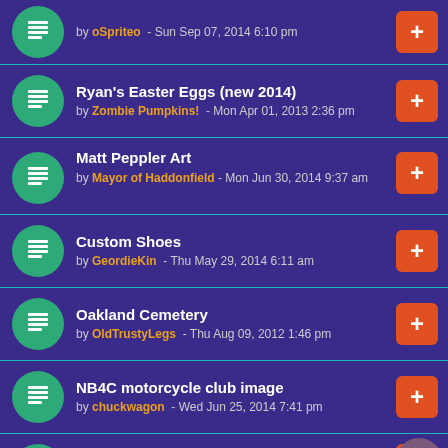by oSpriteo - Sun Sep 07, 2014 6:10 pm
Ryan's Easter Eggs (new 2014) by Zombie Pumpkins! - Mon Apr 01, 2013 2:36 pm
Matt Peppler Art by Mayor of Haddonfield - Mon Jun 30, 2014 9:37 am
Custom Shoes by GeordieKin - Thu May 29, 2014 6:11 am
Oakland Cemetery by OldTrustyLegs - Thu Aug 09, 2012 1:46 pm
NB4C motorcycle club image by chuckwagon - Wed Jun 25, 2014 7:41 pm
working on a new education game